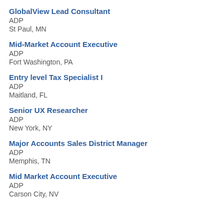GlobalView Lead Consultant
ADP
St Paul, MN
Mid-Market Account Executive
ADP
Fort Washington, PA
Entry level Tax Specialist I
ADP
Maitland, FL
Senior UX Researcher
ADP
New York, NY
Major Accounts Sales District Manager
ADP
Memphis, TN
Mid Market Account Executive
ADP
Carson City, NV